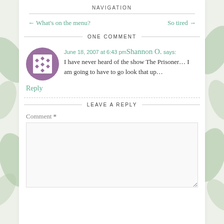NAVIGATION
← What's on the menu?    So tired →
ONE COMMENT
June 18, 2007 at 6:43 pm Shannon O. says:
I have never heard of the show The Prisoner… I am going to have to go look that up…
Reply
LEAVE A REPLY
Comment *